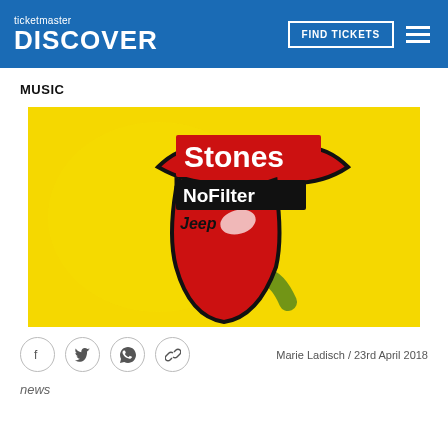ticketmaster DISCOVER
MUSIC
[Figure (illustration): Rolling Stones No Filter Tour artwork — yellow background with the iconic Rolling Stones lips and tongue logo in red; text overlay: 'Stones' in white on red rectangle, 'No Filter' in white on black rectangle, 'Jeep' in black italic]
Marie Ladisch / 23rd April 2018
news